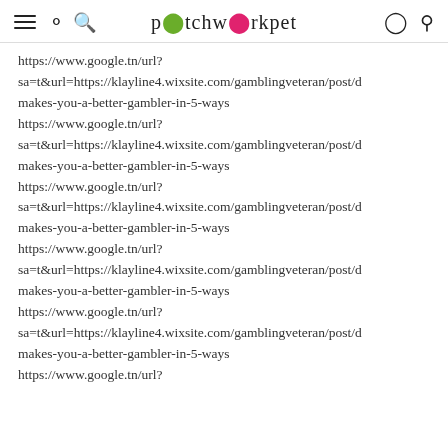patchworkpet
https://www.google.tn/url?
sa=t&url=https://klayline4.wixsite.com/gamblingveteran/post/d
makes-you-a-better-gambler-in-5-ways
https://www.google.tn/url?
sa=t&url=https://klayline4.wixsite.com/gamblingveteran/post/d
makes-you-a-better-gambler-in-5-ways
https://www.google.tn/url?
sa=t&url=https://klayline4.wixsite.com/gamblingveteran/post/d
makes-you-a-better-gambler-in-5-ways
https://www.google.tn/url?
sa=t&url=https://klayline4.wixsite.com/gamblingveteran/post/d
makes-you-a-better-gambler-in-5-ways
https://www.google.tn/url?
sa=t&url=https://klayline4.wixsite.com/gamblingveteran/post/d
makes-you-a-better-gambler-in-5-ways
https://www.google.tn/url?